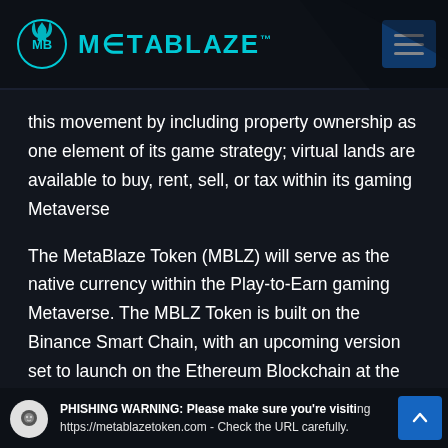[Figure (logo): MetaBlaze logo with cyan flame icon and METABLAZE text in cyan, plus hamburger menu button in blue on the right]
this movement by including property ownership as one element of its game strategy; virtual lands are available to buy, rent, sell, or tax within its gaming Metaverse
The MetaBlaze Token (MBLZ) will serve as the native currency within the Play-to-Earn gaming Metaverse. The MBLZ Token is built on the Binance Smart Chain, with an upcoming version set to launch on the Ethereum Blockchain at the end of 2022. MBLZ is a deflationary token by design and will burn up to 49% of the supply
PHISHING WARNING: Please make sure you're visiting https://metablazetoken.com - Check the URL carefully.